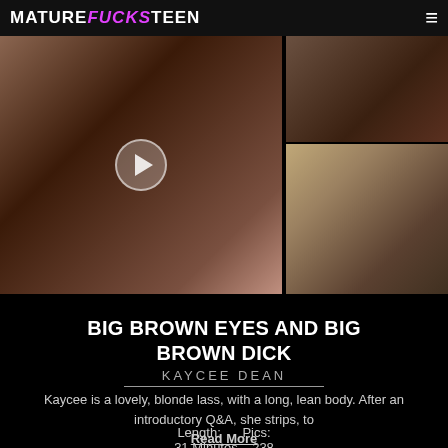MATUREFUCKSTEEN
[Figure (photo): Main video thumbnail showing adult content with play button overlay]
[Figure (photo): Side thumbnail - adult content, top]
[Figure (photo): Side thumbnail - adult content, bottom, woman posing on couch]
BIG BROWN EYES AND BIG BROWN DICK
KAYCEE DEAN
Kaycee is a lovely, blonde lass, with a long, lean body. After an introductory Q&A, she strips, to Read More
Length: 31 Minutes  Pics: 238
[Figure (photo): Bottom left thumbnail - adult content, woman with dark hair]
[Figure (photo): Bottom right thumbnail - adult content]